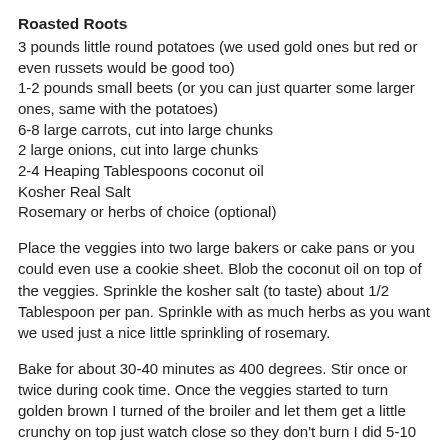Roasted Roots
3 pounds little round potatoes (we used gold ones but red or even russets would be good too)
1-2 pounds small beets (or you can just quarter some larger ones, same with the potatoes)
6-8 large carrots, cut into large chunks
2 large onions, cut into large chunks
2-4 Heaping Tablespoons coconut oil
Kosher Real Salt
Rosemary or herbs of choice (optional)
Place the veggies into two large bakers or cake pans or you could even use a cookie sheet. Blob the coconut oil on top of the veggies. Sprinkle the kosher salt (to taste) about 1/2 Tablespoon per pan. Sprinkle with as much herbs as you want we used just a nice little sprinkling of rosemary.
Bake for about 30-40 minutes as 400 degrees. Stir once or twice during cook time. Once the veggies started to turn golden brown I turned of the broiler and let them get a little crunchy on top just watch close so they don't burn I did 5-10 minutes.